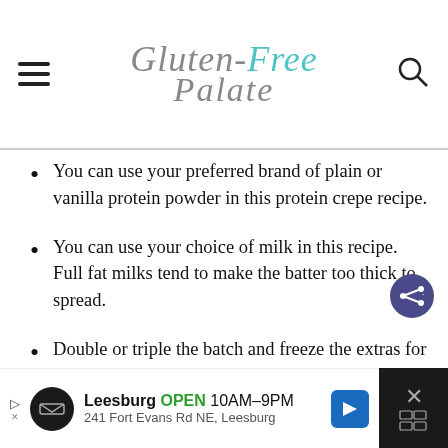Gluten-Free Palate
You can use your preferred brand of plain or vanilla protein powder in this protein crepe recipe.
You can use your choice of milk in this recipe. Full fat milks tend to make the batter too thick to spread.
Double or triple the batch and freeze the extras for leftovers.
Leesburg OPEN 10AM–9PM 241 Fort Evans Rd NE, Leesburg